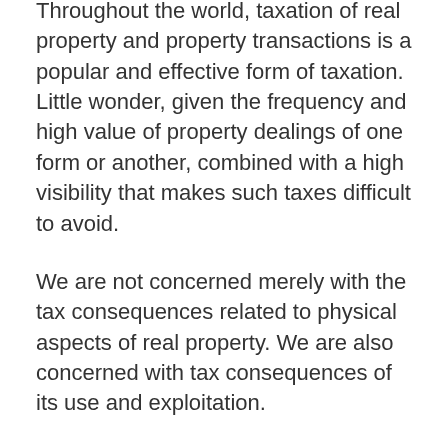Throughout the world, taxation of real property and property transactions is a popular and effective form of taxation. Little wonder, given the frequency and high value of property dealings of one form or another, combined with a high visibility that makes such taxes difficult to avoid.
We are not concerned merely with the tax consequences related to physical aspects of real property. We are also concerned with tax consequences of its use and exploitation.
Almost every tax career option requires knowledge of at least some aspects of the taxation of property transactions. Property transactions are such an important part of everyday personal and business life, not only